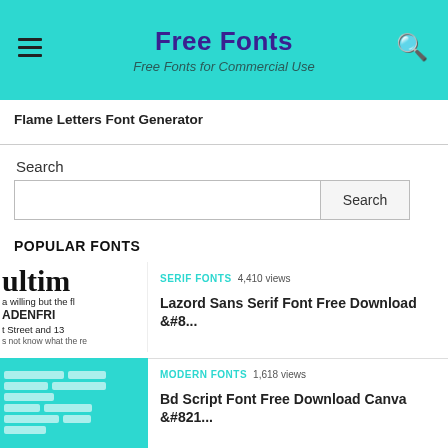Free Fonts — Free Fonts for Commercial Use
Flame Letters Font Generator
Search
Search
POPULAR FONTS
SERIF FONTS  4,410 views
Lazord Sans Serif Font Free Download &#8...
MODERN FONTS  1,618 views
Bd Script Font Free Download Canva &#821...
SERIF FONTS  871 views
New Money Serif Font Download – 26...